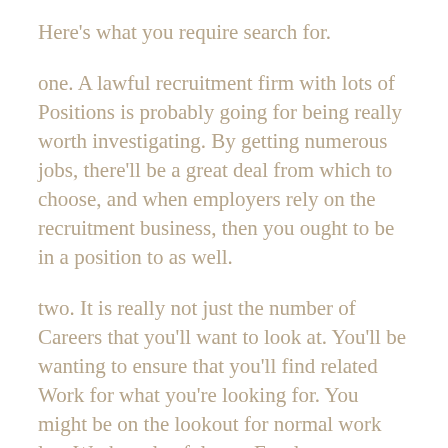Here's what you require search for.
one. A lawful recruitment firm with lots of Positions is probably going for being really worth investigating. By getting numerous jobs, there'll be a great deal from which to choose, and when employers rely on the recruitment business, then you ought to be in a position to as well.
two. It is really not just the number of Careers that you'll want to look at. You'll be wanting to ensure that you'll find related Work for what you're looking for. You might be on the lookout for normal work law Work, or lawful govt Employment, or you may be on the lookout for a thing really niche, Potentially IP legislation, or some aspect of spouse and children legislation.